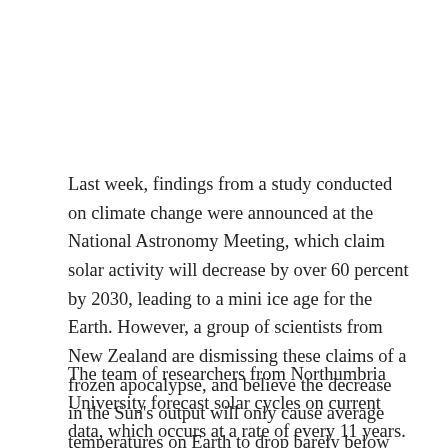Last week, findings from a study conducted on climate change were announced at the National Astronomy Meeting, which claim solar activity will decrease by over 60 percent by 2030, leading to a mini ice age for the Earth. However, a group of scientists from New Zealand are dismissing these claims of a frozen apocalypse, and believe the decrease in the Sun's output will only cause average temperatures on Earth to drop barely below pre-Industrial Revolution levels.
The team of researchers from Northumbria University forecast solar cycles on current data, which occurs at a rate of every 11 years. The cycles, according to the study, “cancel each other out between 2030 and 2040.” Professor Valentina Zharkova, lead of the study, stated the dip in solar activity could possibly bring conditions similar to those